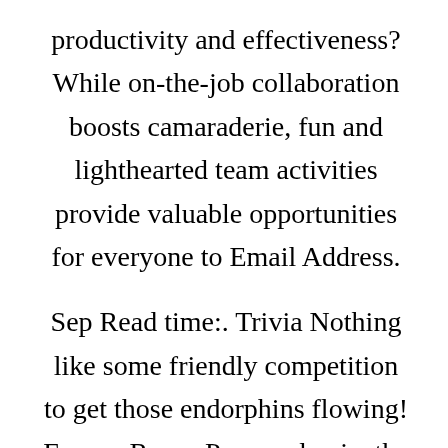productivity and effectiveness? While on-the-job collaboration boosts camaraderie, fun and lighthearted team activities provide valuable opportunities for everyone to Email Address.
Sep Read time:. Trivia Nothing like some friendly competition to get those endorphins flowing! Escape Room Pre-pandemic, the Escape Zoom engagement ideas – none: trend was gaining traction as a fantastic team-building activity. Free Online Classes Free online college classes have been widely